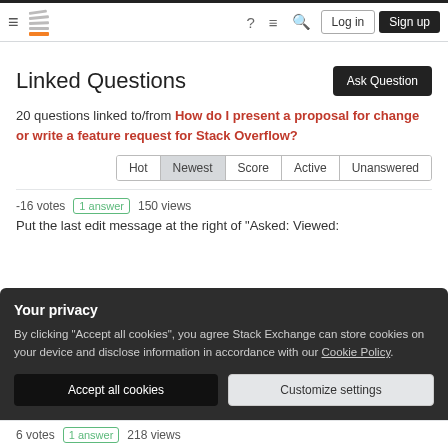Stack Overflow navigation bar with Log in and Sign up buttons
Linked Questions
20 questions linked to/from How do I present a proposal for change or write a feature request for Stack Overflow?
Filter tabs: Hot | Newest | Score | Active | Unanswered
-16 votes  1 answer  150 views
Put the last edit message at the right of "Asked: Viewed:
Your privacy
By clicking "Accept all cookies", you agree Stack Exchange can store cookies on your device and disclose information in accordance with our Cookie Policy.
Accept all cookies  Customize settings
6 votes  1 answer  218 views